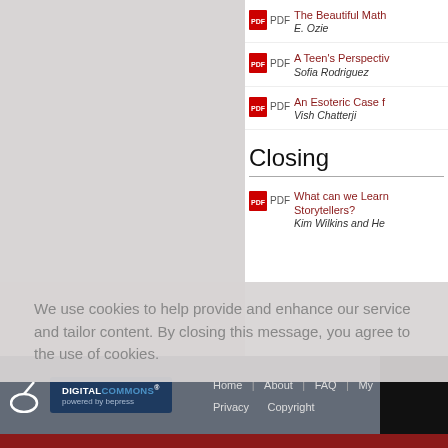PDF - The Beautiful Math... / E. Ozie
PDF - A Teen's Perspectiv... / Sofia Rodriguez
PDF - An Esoteric Case f... / Vish Chatterji
Closing
PDF - What can we Learn... Storytellers? / Kim Wilkins and He...
We use cookies to help provide and enhance our service and tailor content. By closing this message, you agree to the use of cookies.
DigitalCommons powered by bepress | Home | About | FAQ | My... | Privacy | Copyright